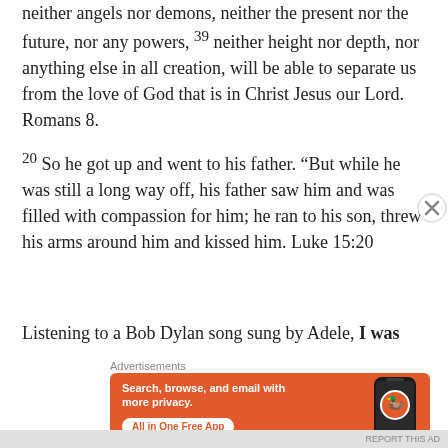neither angels nor demons, neither the present nor the future, nor any powers, 39 neither height nor depth, nor anything else in all creation, will be able to separate us from the love of God that is in Christ Jesus our Lord. Romans 8.
20 So he got up and went to his father. “But while he was still a long way off, his father saw him and was filled with compassion for him; he ran to his son, threw his arms around him and kissed him. Luke 15:20
Listening to a Bob Dylan song sung by Adele, I was
Advertisements
[Figure (screenshot): DuckDuckGo advertisement banner on orange background showing 'Search, browse, and email with more privacy. All in One Free App' with DuckDuckGo app icon on smartphone]